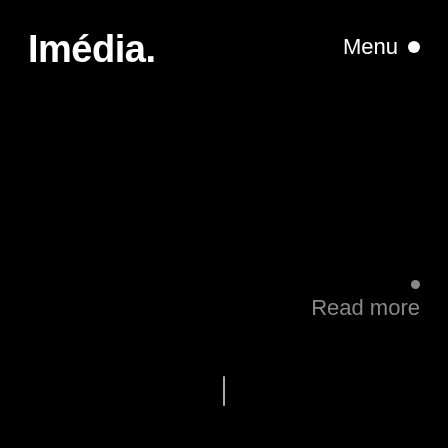Imédia.
Menu ●
● Read more
[Figure (other): Vertical cursor/caret line at the bottom center of the page]